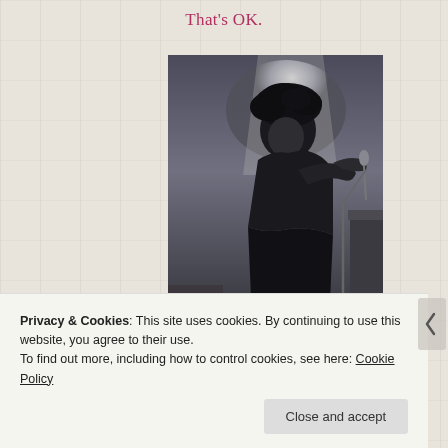That's OK.
[Figure (photo): Black and white concert photo of a performer with curly hair leaning into a microphone on a stand, wearing a dark outfit, on a stage.]
Privacy & Cookies: This site uses cookies. By continuing to use this website, you agree to their use.
To find out more, including how to control cookies, see here: Cookie Policy
Close and accept